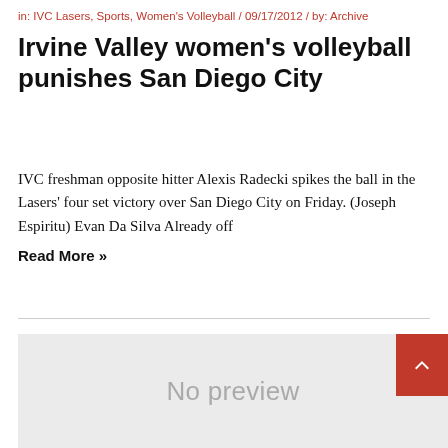in: IVC Lasers, Sports, Women's Volleyball / 09/17/2012 / by: Archive
Irvine Valley women's volleyball punishes San Diego City
IVC freshman opposite hitter Alexis Radecki spikes the ball in the Lasers' four set victory over San Diego City on Friday. (Joseph Espiritu) Evan Da Silva Already off Read More »
[Figure (other): No preview placeholder image — light grey background with 'No preview' text in grey. A red scroll-to-top button appears in the top-right corner of the box.]